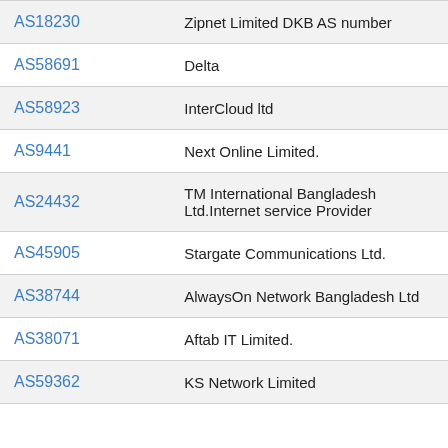| AS Number | Organization |
| --- | --- |
| AS18230 | Zipnet Limited DKB AS number |
| AS58691 | Delta |
| AS58923 | InterCloud ltd |
| AS9441 | Next Online Limited. |
| AS24432 | TM International Bangladesh Ltd.Internet service Provider |
| AS45905 | Stargate Communications Ltd. |
| AS38744 | AlwaysOn Network Bangladesh Ltd |
| AS38071 | Aftab IT Limited. |
| AS59362 | KS Network Limited |